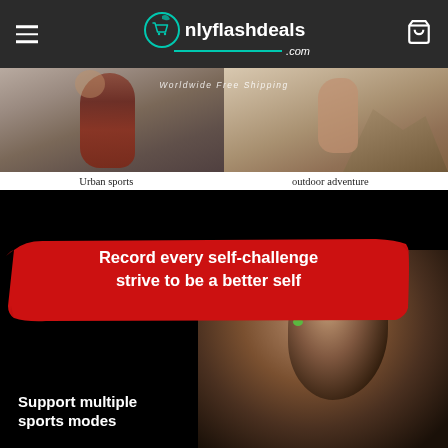[Figure (screenshot): OnlyFlashDeals.com website header with hamburger menu icon on left, logo in center, and shopping cart icon on right, dark grey background]
[Figure (photo): Two sports activity photos side by side with 'Worldwide Free Shipping' text overlay. Left shows urban sports figure, right shows outdoor adventure figure.]
Urban sports
outdoor adventure
[Figure (photo): Black background promotional image with red brushstroke banner text reading 'Record every self-challenge strive to be a better self' and a young woman with ponytail in athletic wear. Bottom left text reads 'Support multiple sports modes']